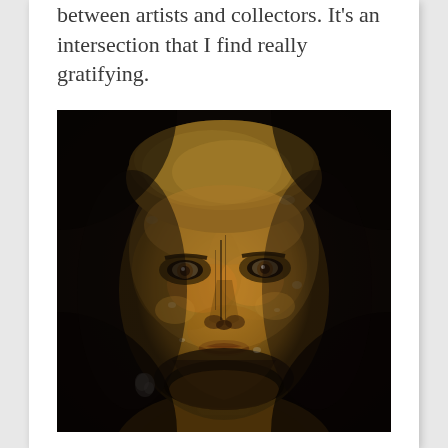between artists and collectors. It's an intersection that I find really gratifying.
[Figure (photo): Close-up portrait of a young man with a beard, his face appearing weathered or textured with what looks like paint, rust, or age effects — dark background, warm earthy tones on skin.]